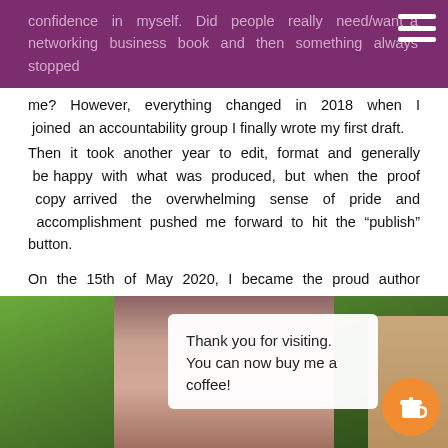confidence in myself. Did people really need/want a networking business book and then something always stopped
me? However, everything changed in 2018 when I joined an accountability group I finally wrote my first draft.
Then it took another year to edit, format and generally be happy with what was produced, but when the proof copy arrived the overwhelming sense of pride and accomplishment pushed me forward to hit the “publish” button.
On the 15th of May 2020, I became the proud author of not one but two books.
[Figure (photo): Photo of a woman outdoors among trees with a brick wall visible. An overlay box reads 'Thank you for visiting. You can now buy me a coffee!' with an orange coffee cup icon button.]